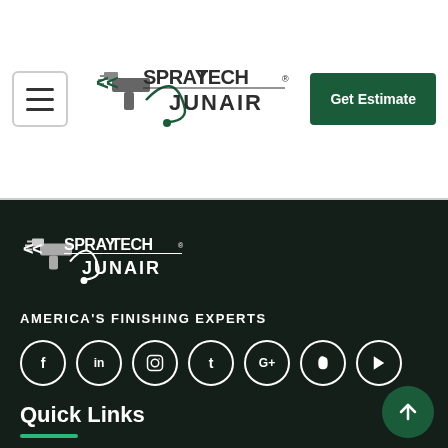[Figure (logo): SprayTech Junair logo in header - green and grey spray gun icon with company name]
Get Estimate
[Figure (logo): SprayTech Junair logo in dark footer - white version of spray gun icon with company name]
AMERICA'S FINISHING EXPERTS
[Figure (infographic): Row of social media icons: Facebook, LinkedIn, Instagram, Tumblr, Google+, Pinterest, YouTube]
Quick Links
My account
Automotive Paint Booths